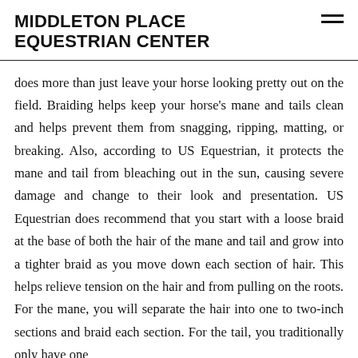MIDDLETON PLACE EQUESTRIAN CENTER
does more than just leave your horse looking pretty out on the field. Braiding helps keep your horse's mane and tails clean and helps prevent them from snagging, ripping, matting, or breaking. Also, according to US Equestrian, it protects the mane and tail from bleaching out in the sun, causing severe damage and change to their look and presentation. US Equestrian does recommend that you start with a loose braid at the base of both the hair of the mane and tail and grow into a tighter braid as you move down each section of hair. This helps relieve tension on the hair and from pulling on the roots. For the mane, you will separate the hair into one to two-inch sections and braid each section. For the tail, you traditionally only have one